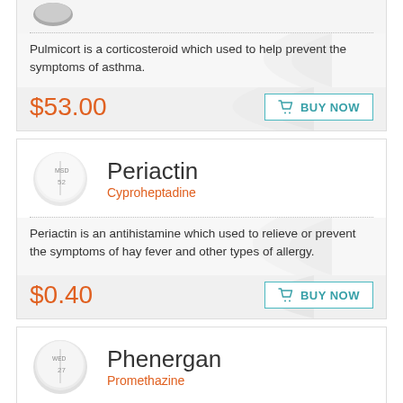[Figure (photo): Partial view of Pulmicort pill/inhaler image at top of card]
Pulmicort is a corticosteroid which used to help prevent the symptoms of asthma.
$53.00
BUY NOW
[Figure (photo): Round white pill tablet labeled MSD 52 for Periactin]
Periactin
Cyproheptadine
Periactin is an antihistamine which used to relieve or prevent the symptoms of hay fever and other types of allergy.
$0.40
BUY NOW
[Figure (photo): Round white pill tablet labeled WED 27 for Phenergan]
Phenergan
Promethazine
Phenergan is treating different types of allergy symptoms, including itching, runny nose, sneezing, itchy or watery eyes, hives, and itchy skin rashes.